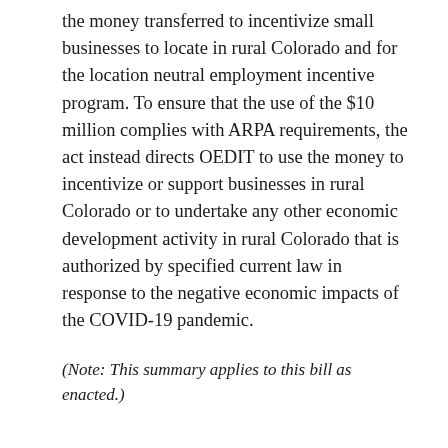the money transferred to incentivize small businesses to locate in rural Colorado and for the location neutral employment incentive program. To ensure that the use of the $10 million complies with ARPA requirements, the act instead directs OEDIT to use the money to incentivize or support businesses in rural Colorado or to undertake any other economic development activity in rural Colorado that is authorized by specified current law in response to the negative economic impacts of the COVID-19 pandemic.
(Note: This summary applies to this bill as enacted.)